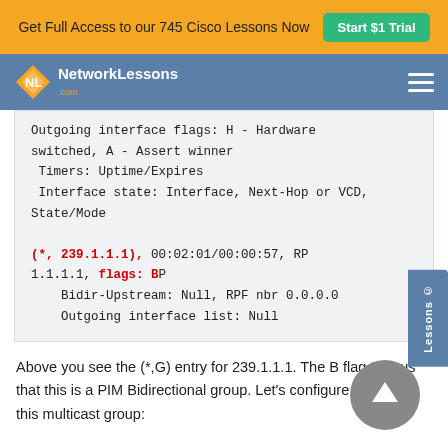Get Full Access to our 745 Cisco Lessons Now   Start $1 Trial
Outgoing interface flags: H - Hardware switched, A - Assert winner
  Timers: Uptime/Expires
  Interface state: Interface, Next-Hop or VCD, State/Mode

(*, 239.1.1.1), 00:02:01/00:00:57, RP 1.1.1.1, flags: BP
    Bidir-Upstream: Null, RPF nbr 0.0.0.0
    Outgoing interface list: Null
Above you see the (*,G) entry for 239.1.1.1. The B flag tells us that this is a PIM Bidirectional group. Let's configure R5 to join this multicast group: